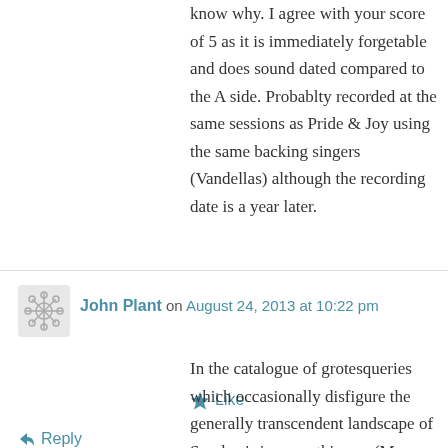know why. I agree with your score of 5 as it is immediately forgetable and does sound dated compared to the A side. Probablty recorded at the same sessions as Pride & Joy using the same backing singers (Vandellas) although the recording date is a year later.
★ Like
↳ Reply
John Plant on August 24, 2013 at 10:22 pm
In the catalogue of grotesqueries which occasionally disfigure the generally transcendent landscape of Smokey's images, this one (Mona Lisa plus Playboy maiden) holds a high place indeed, right next to 'You're the stopper in life's